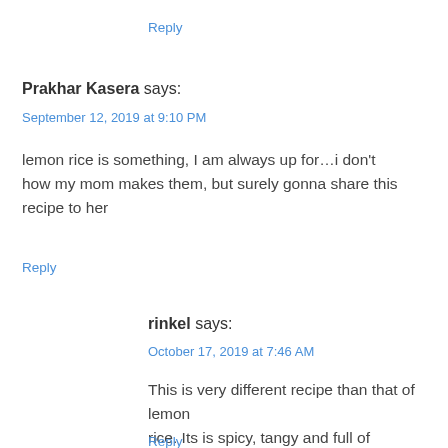Reply
Prakhar Kasera says:
September 12, 2019 at 9:10 PM
lemon rice is something, I am always up for…i don't how my mom makes them, but surely gonna share this recipe to her
Reply
rinkel says:
October 17, 2019 at 7:46 AM
This is very different recipe than that of lemon rice. Its is spicy, tangy and full of flavours.
Reply